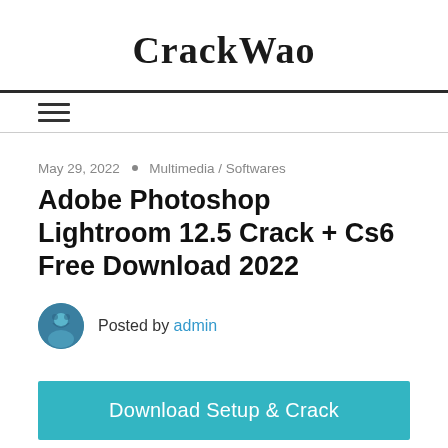CrackWao
May 29, 2022 • Multimedia / Softwares
Adobe Photoshop Lightroom 12.5 Crack + Cs6 Free Download 2022
Posted by admin
Download Setup & Crack